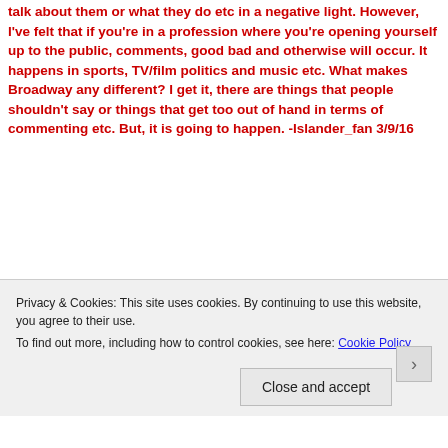talk about them or what they do etc in a negative light. However, I've felt that if you're in a profession where you're opening yourself up to the public, comments, good bad and otherwise will occur. It happens in sports, TV/film politics and music etc. What makes Broadway any different? I get it, there are things that people shouldn't say or things that get too out of hand in terms of commenting etc. But, it is going to happen. -Islander_fan 3/9/16
So because people are legally allowed to say shitty things about anyone and anything they want, you want to be an asshole too?
I love Broadway World. I have been writing recaps and blogs
Privacy & Cookies: This site uses cookies. By continuing to use this website, you agree to their use.
To find out more, including how to control cookies, see here: Cookie Policy
Close and accept